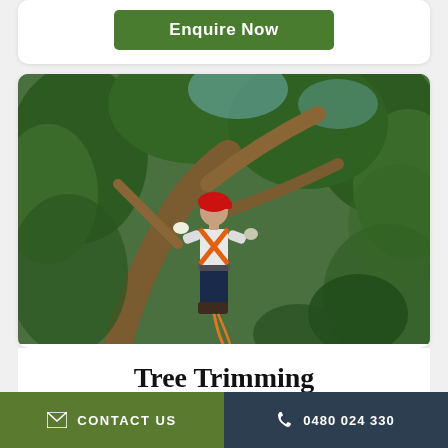[Figure (other): Green button labeled Enquire Now on a white card]
[Figure (photo): Arborist/tree trimmer wearing red hard hat, orange harness and safety gear, climbing up a large tree with ropes and equipment, surrounded by dense green forest]
Tree Trimming
CONTACT US   0480 024 330